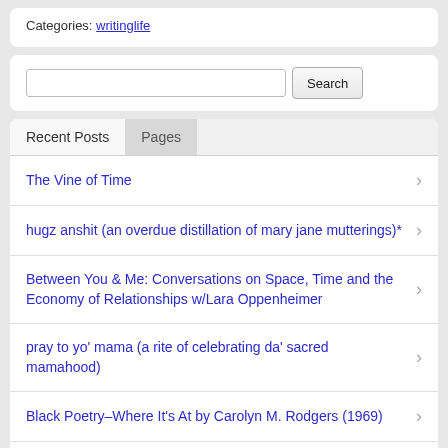Categories: writinglife
[Figure (screenshot): Search input box with Search button]
Recent Posts | Pages (tabs)
The Vine of Time
hugz anshit (an overdue distillation of mary jane mutterings)*
Between You & Me: Conversations on Space, Time and the Economy of Relationships w/Lara Oppenheimer
pray to yo' mama (a rite of celebrating da' sacred mamahood)
Black Poetry–Where It's At by Carolyn M. Rodgers (1969)
Ode To A Naked Beauty by Pablo Neruda